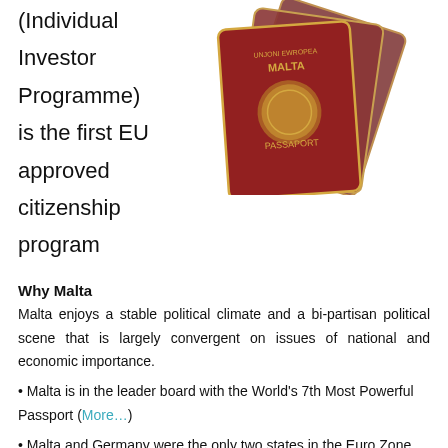(Individual Investor Programme) is the first EU approved citizenship program
[Figure (photo): Three Maltese burgundy/red passports fanned out on a white background, with gold text reading MALTA and PASSAPORT visible]
Why Malta
Malta enjoys a stable political climate and a bi-partisan political scene that is largely convergent on issues of national and economic importance.
Malta is in the leader board with the World's 7th Most Powerful Passport (More…)
Malta and Germany were the only two states in the Euro Zone